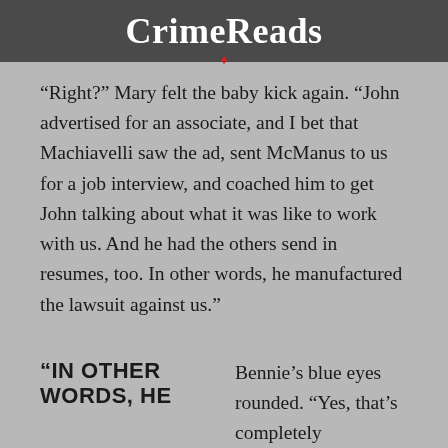CrimeReads
“Right?” Mary felt the baby kick again. “John advertised for an associate, and I bet that Machiavelli saw the ad, sent McManus to us for a job interview, and coached him to get John talking about what it was like to work with us. And he had the others send in resumes, too. In other words, he manufactured the lawsuit against us.”
“IN OTHER WORDS, HE
Bennie’s blue eyes rounded. “Yes, that’s completely